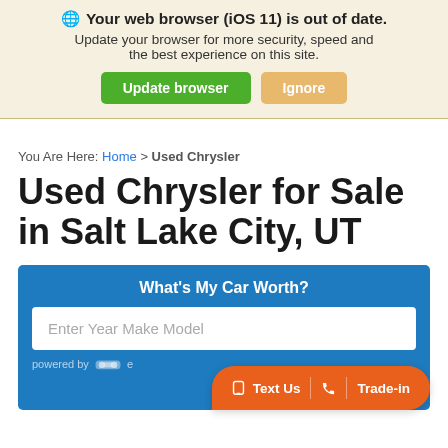🌐 Your web browser (iOS 11) is out of date. Update your browser for more security, speed and the best experience on this site. Update browser | Ignore
You Are Here: Home > Used Chrysler
Used Chrysler for Sale in Salt Lake City, UT
What's My Car Worth? Enter Year Make Model powered by [car icon] ... Text Us | [phone] | Trade-in